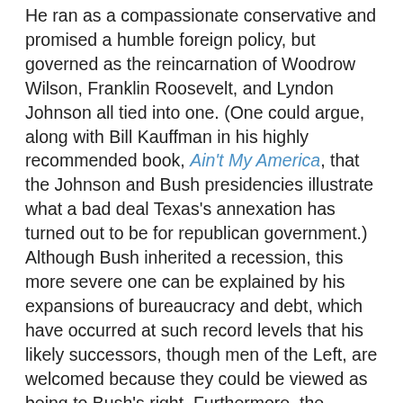He ran as a compassionate conservative and promised a humble foreign policy, but governed as the reincarnation of Woodrow Wilson, Franklin Roosevelt, and Lyndon Johnson all tied into one. (One could argue, along with Bill Kauffman in his highly recommended book, Ain't My America, that the Johnson and Bush presidencies illustrate what a bad deal Texas's annexation has turned out to be for republican government.) Although Bush inherited a recession, this more severe one can be explained by his expansions of bureaucracy and debt, which have occurred at such record levels that his likely successors, though men of the Left, are welcomed because they could be viewed as being to Bush's right. Furthermore, the doubling of the national debt in seven years (and increasing it by a half trillion dollars in the last two weeks alone) is one of the primary unstated reasons for credit problems today, which explains the political desire to blame Wall Street.
Wall Street
This does not refer to a single person, of course, but rather to